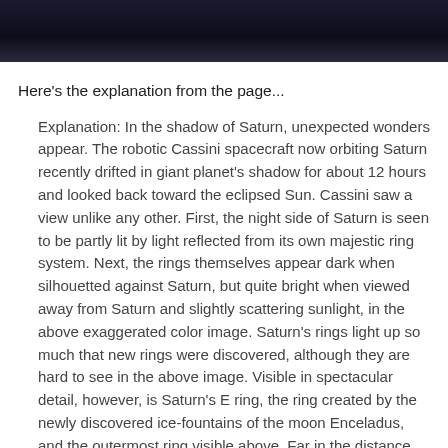[Figure (photo): Dark space/astronomical image, partially visible at top of page — appears to be a dark sky or space scene]
Here's the explanation from the page...
Explanation: In the shadow of Saturn, unexpected wonders appear. The robotic Cassini spacecraft now orbiting Saturn recently drifted in giant planet's shadow for about 12 hours and looked back toward the eclipsed Sun. Cassini saw a view unlike any other. First, the night side of Saturn is seen to be partly lit by light reflected from its own majestic ring system. Next, the rings themselves appear dark when silhouetted against Saturn, but quite bright when viewed away from Saturn and slightly scattering sunlight, in the above exaggerated color image. Saturn's rings light up so much that new rings were discovered, although they are hard to see in the above image. Visible in spectacular detail, however, is Saturn's E ring, the ring created by the newly discovered ice-fountains of the moon Enceladus, and the outermost ring visible above. Far in the distance, visible on the image left just above the bright main rings, is the almost ignorable pale blue dot of Earth.
So you see that "star" that's on the left above the really bright